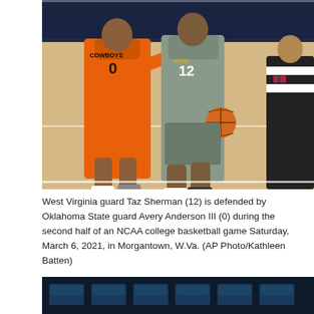[Figure (photo): Basketball game photo: West Virginia guard Taz Sherman (12) dribbling while defended by Oklahoma State guard Avery Anderson III (0) in orange Cowboys uniform, with a referee in the background on an indoor basketball court.]
West Virginia guard Taz Sherman (12) is defended by Oklahoma State guard Avery Anderson III (0) during the second half of an NCAA college basketball game Saturday, March 6, 2021, in Morgantown, W.Va. (AP Photo/Kathleen Batten)
Mar. 06, 2021 04:53 PM EST
[Figure (photo): Partial view of the bottom of another photo showing dark arena seating/bleachers with blue seats.]